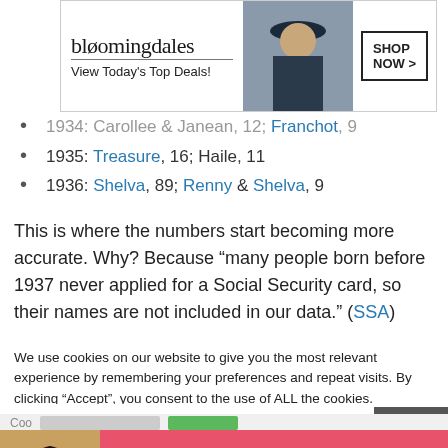[Figure (other): Bloomingdale's advertisement banner with logo, 'View Today's Top Deals!' text, woman with hat photo, and 'SHOP NOW >' button]
1934: Carollee & Janean, 12; Franchot, 9
1935: Treasure, 16; Haile, 11
1936: Shelva, 89; Renny & Shelva, 9
This is where the numbers start becoming more accurate. Why? Because “many people born before 1937 never applied for a Social Security card, so their names are not included in our data.” (SSA)
We use cookies on our website to give you the most relevant experience by remembering your preferences and repeat visits. By clicking “Accept”, you consent to the use of ALL the cookies.
Do not sell my personal information.
[Figure (other): Victoria's Secret advertisement banner with model, VS logo, 'SHOP THE COLLECTION' text and 'SHOP NOW' button. CLOSE button visible.]